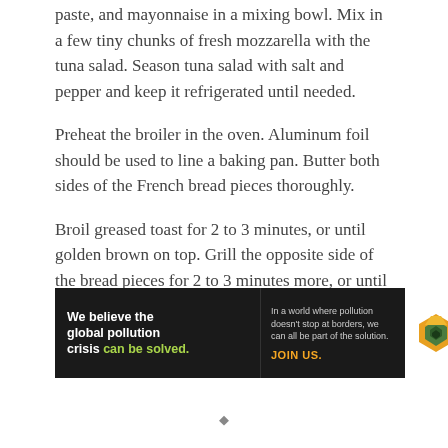paste, and mayonnaise in a mixing bowl. Mix in a few tiny chunks of fresh mozzarella with the tuna salad. Season tuna salad with salt and pepper and keep it refrigerated until needed.
Preheat the broiler in the oven. Aluminum foil should be used to line a baking pan. Butter both sides of the French bread pieces thoroughly.
Broil greased toast for 2 to 3 minutes, or until golden brown on top. Grill the opposite side of the bread pieces for 2 to 3 minutes more, or until toasted. Remove the bread slices from the oven and flip them
[Figure (other): Advertisement banner for Pure Earth organization. Black background on left showing text: 'We believe the global pollution crisis can be solved.' with 'can be solved.' in green. Center shows tagline 'In a world where pollution doesn't stop at borders, we can all be part of the solution.' and 'JOIN US.' in orange. Right side shows Pure Earth logo (diamond/leaf shield in orange and green) with 'PURE EARTH' in bold black text on white background.]
◆